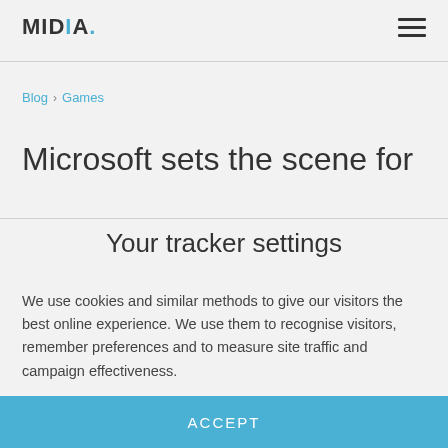MIDIA.
Blog › Games
Microsoft sets the scene for
Your tracker settings
We use cookies and similar methods to give our visitors the best online experience. We use them to recognise visitors, remember preferences and to measure site traffic and campaign effectiveness.
ACCEPT